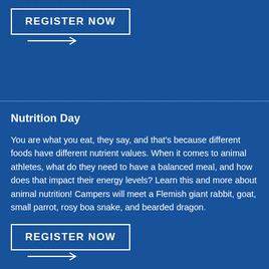[Figure (photo): Top blue-tinted photo section showing outdoor scene with animal camp activities, partially visible]
REGISTER NOW
Nutrition Day
You are what you eat, they say, and that's because different foods have different nutrient values. When it comes to animal athletes, what do they need to have a balanced meal, and how does that impact their energy levels? Learn this and more about animal nutrition! Campers will meet a Flemish giant rabbit, goat, small parrot, rosy boa snake, and bearded dragon.
REGISTER NOW